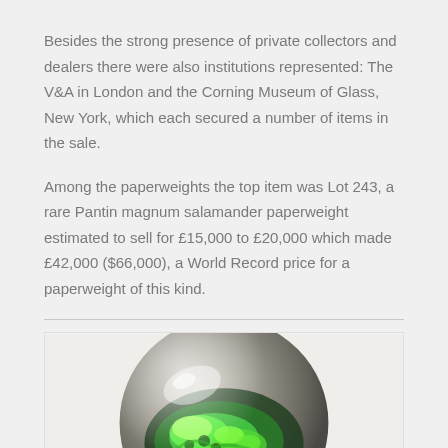Besides the strong presence of private collectors and dealers there were also institutions represented: The V&A in London and the Corning Museum of Glass, New York, which each secured a number of items in the sale.
Among the paperweights the top item was Lot 243, a rare Pantin magnum salamander paperweight estimated to sell for £15,000 to £20,000 which made £42,000 ($66,000), a World Record price for a paperweight of this kind.
[Figure (photo): A glass paperweight containing a green salamander figure inside, shown from above/side angle. The spherical glass ball has a green creature visible through the transparent glass.]